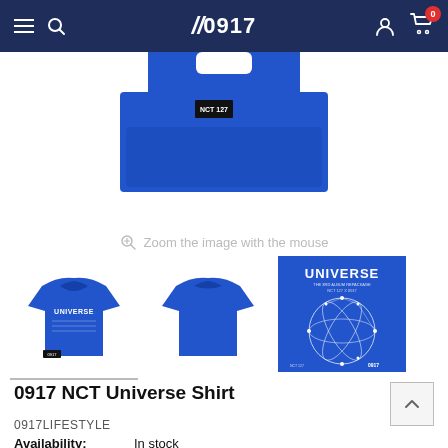0917 — navigation bar with hamburger menu, search icon, logo, account icon, cart (0)
[Figure (photo): Blue NCT 0917 t-shirt shown folded/flat view from above, cropped at top, bright royal blue with small black label tag]
Zoom the image with the mouse
[Figure (photo): Three product thumbnails: front view of blue UNIVERSE t-shirt, back view of blue t-shirt, and graphic/design card showing UNIVERSE text and constellation diagram on blue background]
0917 NCT Universe Shirt
0917LIFESTYLE
Availability: In stock